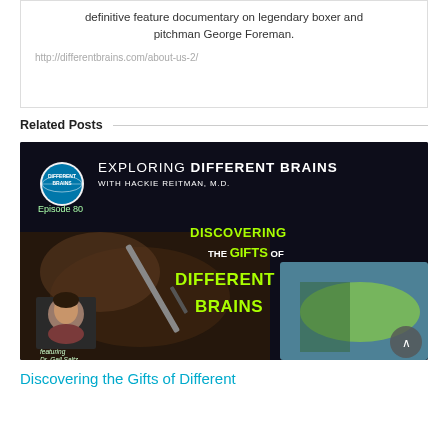definitive feature documentary on legendary boxer and pitchman George Foreman.
http://differentbrains.com/about-us-2/
Related Posts
[Figure (other): Podcast episode card for 'Exploring Different Brains with Hackie Reitman, M.D.' Episode 80: Discovering the Gifts of Different Brains, featuring Dr. Gail Saltz. Dark background with green text and a hand holding a paintbrush.]
Discovering the Gifts of Different